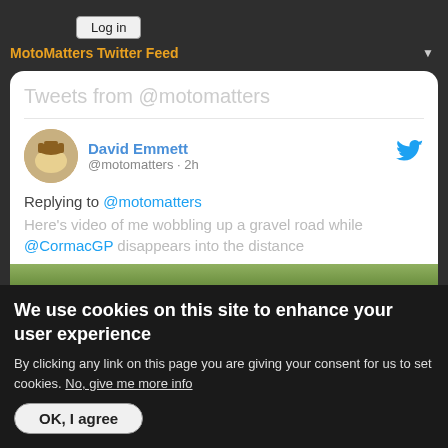Log in
MotoMatters Twitter Feed
[Figure (screenshot): Twitter feed widget showing tweets from @motomatters. Displays a tweet from David Emmett (@motomatters · 2h) replying to @motomatters: 'Here's video of me wobbling up a gravel road while @CormacGP disappears into the distance'. A partial image of trees is shown at the bottom.]
We use cookies on this site to enhance your user experience
By clicking any link on this page you are giving your consent for us to set cookies. No, give me more info
OK, I agree